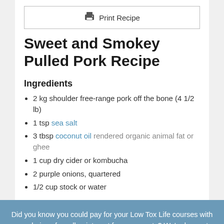Sweet and Smokey Pulled Pork Recipe
Ingredients
2 kg shoulder free-range pork off the bone (4 1/2 lb)
1 tsp sea salt
3 tbsp coconut oil rendered organic animal fat or ghee
1 cup dry cider or kombucha
2 purple onions, quartered
1/2 cup stock or water
Did you know you could pay for your Low Tox Life courses with your choice of smaller, interest free payments? We're happy to be partnering with Openpay to make that possible. Check out our courses here or learn more about Openpay here.